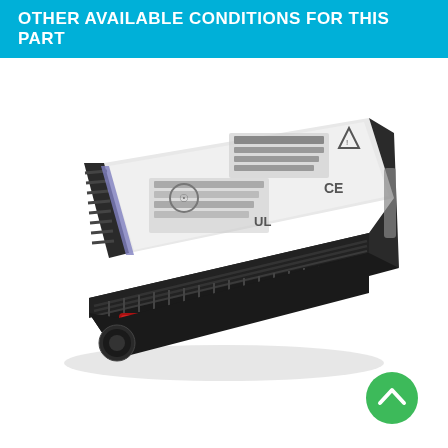OTHER AVAILABLE CONDITIONS FOR THIS PART
[Figure (photo): HP/HPE 2.5-inch SSD hard drive in a black server drive tray/carrier. The drive shows a white label with text and regulatory marks (CE, UL). The tray has characteristic finger-grip ridges on the left side and a red release button at the bottom-left.]
[Figure (other): Green circular scroll-to-top button with white upward chevron arrow icon.]